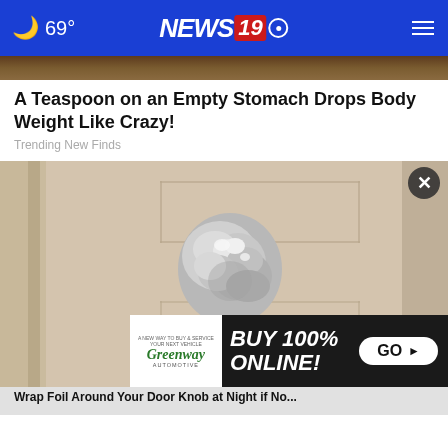69° NEWS 19
[Figure (photo): Partial view of wooden surface at top]
A Teaspoon on an Empty Stomach Drops Body Weight Like Crazy!
Trending New Finds
[Figure (photo): Door knob wrapped in aluminum foil on a beige/tan door]
Wrap Foil Around Your Door Knob at Night if No...